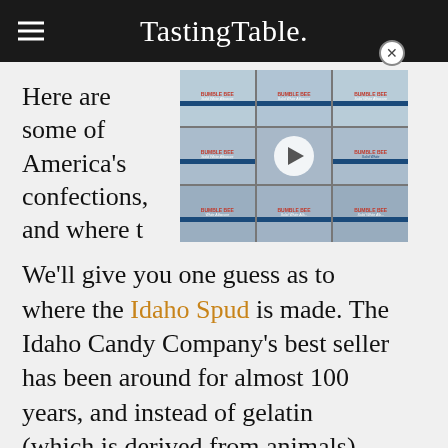TastingTable.
[Figure (screenshot): Video thumbnail showing stacked Bumble Bee tuna cans with a play button overlay and a close (X) button]
Here are some of America's confections, and where t
We'll give you one guess as to where the Idaho Spud is made. The Idaho Candy Company's best seller has been around for almost 100 years, and instead of gelatin (which is derived from animals), the cocoa marshmallow filling contains agar-agar, making it as vegetarian friendly as an actual potato. Though the inside springs like a damp memory foam mattress,